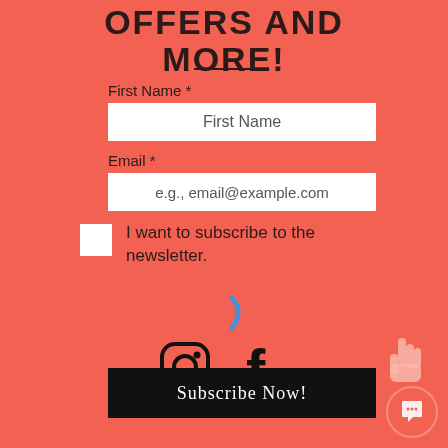OFFERS AND MORE!
First Name *
First Name
Email *
e.g., email@example.com
I want to subscribe to the newsletter.
[Figure (illustration): Blue loading/spinner arc symbol]
[Figure (logo): Instagram and Facebook social media icons]
Subscribe Now!